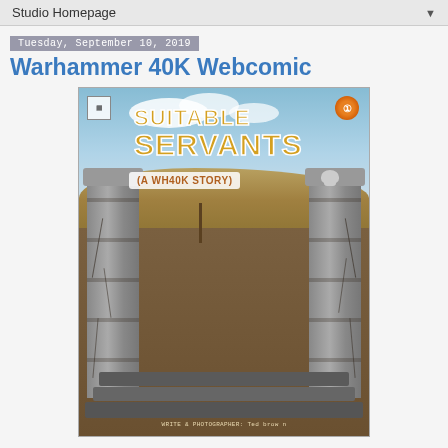Studio Homepage ▼
Tuesday, September 10, 2019
Warhammer 40K Webcomic
[Figure (photo): Comic book cover titled 'SUITABLE SERVANTS (A WH40K STORY)' featuring two cracked stone columns forming a gate, with an arid landscape background with hills and a dry tree. At the bottom text reads 'WRITE & PHOTOGRAPHER: Ted brow n'. There is a small logo in the top-left corner and a circular orange/red logo in the top-right corner.]